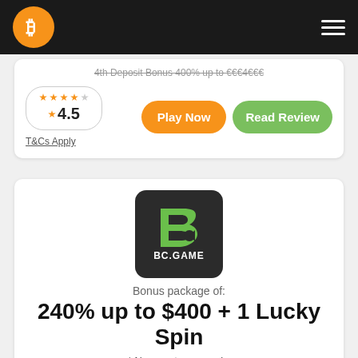Bitcoin Casino navigation bar with logo and menu
4th Deposit Bonus 400% up to €€€4€€€ (strikethrough)
4.5 rating, T&Cs Apply
Play Now
Read Review
[Figure (logo): BC.GAME logo — dark rounded square with green 'b' shape and pac-man icon, text BC.GAME]
Bonus package of:
240% up to $400 + 1 Lucky Spin
* New customers only.
1st Deposit: Up to 180% match bonus on your deposit
2nd Deposit: Instantly credited bonus of 180 on your deposit
3rd Deposit: Instantly credited bonus of up to 180% on your deposit